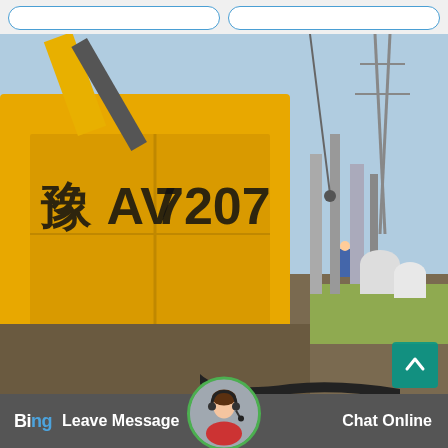[Figure (screenshot): Top navigation bar with two rounded-rectangle buttons outlined in blue]
[Figure (photo): Yellow truck with Chinese license plate AV V7207 at an industrial construction site with electrical substation infrastructure, cranes and equipment visible in background]
[Figure (screenshot): Bottom navigation bar with Bing branding on left, circular avatar with headset in center, Leave Message text on left side, Chat Online text on right side, all on dark gray background]